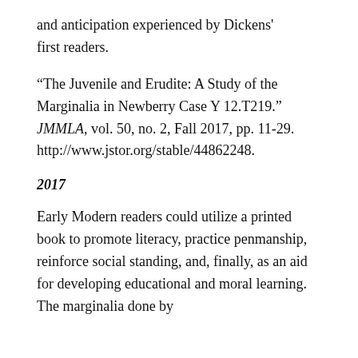and anticipation experienced by Dickens' first readers.
“The Juvenile and Erudite: A Study of the Marginalia in Newberry Case Y 12.T219.” JMMLA, vol. 50, no. 2, Fall 2017, pp. 11-29. http://www.jstor.org/stable/44862248.
2017
Early Modern readers could utilize a printed book to promote literacy, practice penmanship, reinforce social standing, and, finally, as an aid for developing educational and moral learning. The marginalia done by